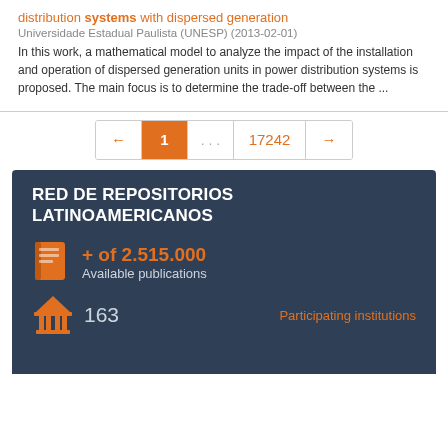distribution systems with dispersed generation
Universidade Estadual Paulista (UNESP) (2013-02-01)
In this work, a mathematical model to analyze the impact of the installation and operation of dispersed generation units in power distribution systems is proposed. The main focus is to determine the trade-off between the ...
[Figure (infographic): Pagination control showing back arrow, page 1 (active/orange), ellipsis, page 17242, forward arrow]
[Figure (infographic): Dark blue panel titled RED DE REPOSITORIOS LATINOAMERICANOS. Shows book icon with '+ of 2.515.000 Available publications' and institution icon with '163 Participating institutions']